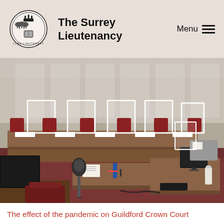The Surrey Lieutenancy
[Figure (photo): Interior of Guildford Crown Court showing courtroom desks fitted with clear acrylic/perspex screens (COVID-19 pandemic safety screens), with computers, keyboards, papers, and a microphone visible in the foreground. Red/maroon upholstered chairs are visible throughout.]
The effect of the pandemic on Guildford Crown Court